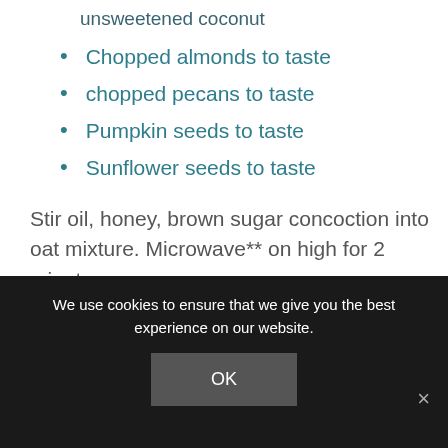unsweetened coconut
Chopped almonds to taste
chopped pecans to taste
Pumpkin seeds to taste
Sunflower seeds to taste
Stir oil, honey, brown sugar concoction into oat mixture. Microwave** on high for 2 minutes.
Stir. Microwave on high for 2 more
We use cookies to ensure that we give you the best experience on our website.
OK
×